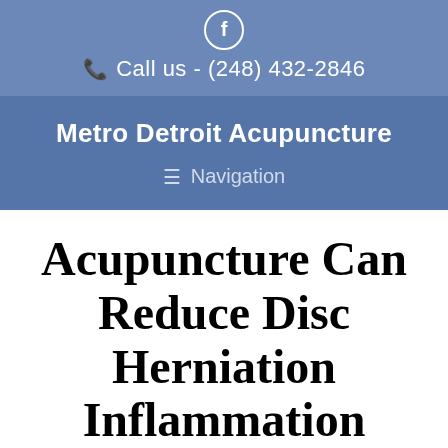f  Call us - (248) 432-2846
Metro Detroit Acupuncture  Navigation
Acupuncture Can Reduce Disc Herniation Inflammation